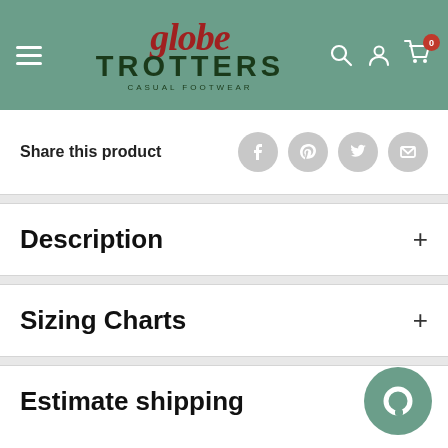[Figure (logo): Globe Trotters Casual Footwear logo on green header with navigation icons (hamburger menu, search, account, cart with 0 badge)]
Share this product
Description +
Sizing Charts +
Estimate shipping